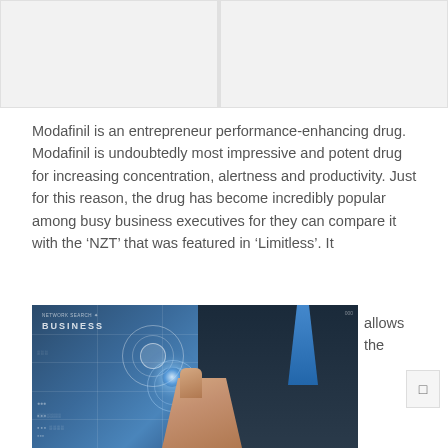[Figure (photo): Two placeholder image areas at the top of the page, side by side with light gray background]
Modafinil is an entrepreneur performance-enhancing drug. Modafinil is undoubtedly most impressive and potent drug for increasing concentration, alertness and productivity. Just for this reason, the drug has become incredibly popular among busy business executives for they can compare it with the ‘NZT’ that was featured in ‘Limitless’. It allows the
[Figure (photo): A businessman in a dark suit and blue tie touching a glowing digital interface screen with business and world map graphics overlaid in blue tones]